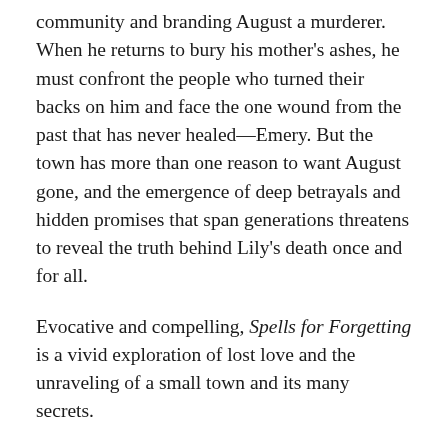community and branding August a murderer. When he returns to bury his mother's ashes, he must confront the people who turned their backs on him and face the one wound from the past that has never healed—Emery. But the town has more than one reason to want August gone, and the emergence of deep betrayals and hidden promises that span generations threatens to reveal the truth behind Lily's death once and for all.
Evocative and compelling, Spells for Forgetting is a vivid exploration of lost love and the unraveling of a small town and its many secrets.
R